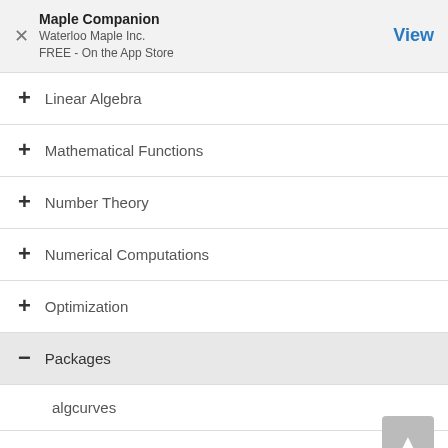Maple Companion
Waterloo Maple Inc.
FREE - On the App Store
Linear Algebra
Mathematical Functions
Number Theory
Numerical Computations
Optimization
Packages
algcurves
Algebraic
combinat